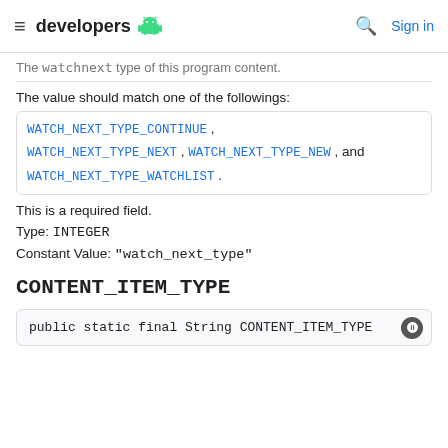≡ developers [android logo] 🔍 Sign in
The `watchnext` type of this program content.
The value should match one of the followings: WATCH_NEXT_TYPE_CONTINUE, WATCH_NEXT_TYPE_NEXT, WATCH_NEXT_TYPE_NEW, and WATCH_NEXT_TYPE_WATCHLIST.
This is a required field.
Type: INTEGER
Constant Value: "watch_next_type"
CONTENT_ITEM_TYPE
public static final String CONTENT_ITEM_TYPE